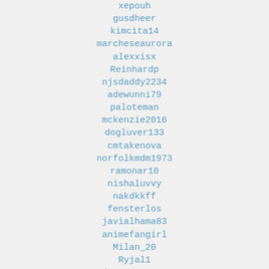xepouh
gusdheer
kimcita14
marcheseaurora
alexxisx
Reinhardp
njsdaddy2234
adewunni79
paloteman
mckenzie2016
dogluver133
cmtakenova
norfolkmdm1973
ramonar10
nishaluvvy
nakdkkff
fensterlos
javialhama83
animefangirl
Milan_20
Ryjal1
photoconcepts
droghii
Danye1357